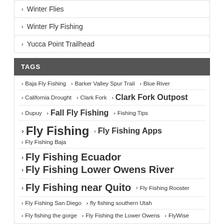Winter Flies
Winter Fly Fishing
Yucca Point Trailhead
TAGS
Baja Fly Fishing
Barker Valley Spur Trail
Blue River
California Drought
Clark Fork
Clark Fork Outpost
Dupuy
Fall Fly Fishing
Fishing Tips
Fly Fishing
Fly Fishing Apps
Fly Fishing Baja
Fly Fishing Ecuador
Fly Fishing Lower Owens River
Fly Fishing near Quito
Fly Fishing Rooster
Fly Fishing San Diego
fly fishing southern Utah
Fly fishing the gorge
Fly Fishing the Lower Owens
FlyWise